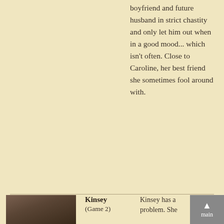boyfriend and future husband in strict chastity and only let him out when in a good mood... which isn't often. Close to Caroline, her best friend she sometimes fool around with.
[Figure (photo): Photo of a young woman with dark hair, head resting on hand]
Kinsey (Game 2)
Kinsey has a problem. She